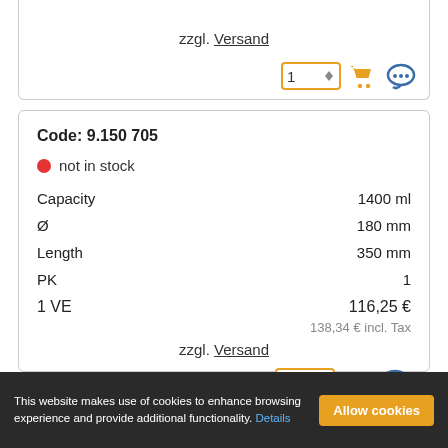zzgl. Versand
Code: 9.150 705
● not in stock
| Property | Value |
| --- | --- |
| Capacity | 1400 ml |
| Ø | 180 mm |
| Length | 350 mm |
| PK | 1 |
| 1 VE | 116,25 € |
138,34 € incl. Tax
zzgl. Versand
This website makes use of cookies to enhance browsing experience and provide additional functionality. Details   Allow cookies